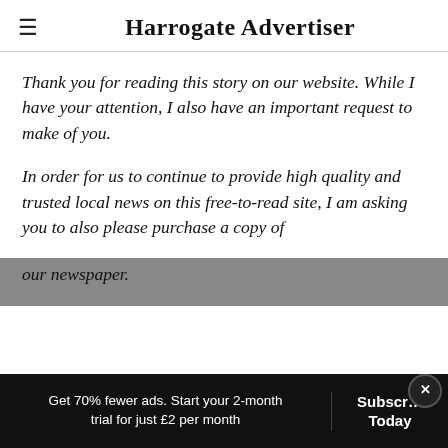Harrogate Advertiser
Thank you for reading this story on our website. While I have your attention, I also have an important request to make of you.
In order for us to continue to provide high quality and trusted local news on this free-to-read site, I am asking you to also please purchase a copy of our newspaper.
Get 70% fewer ads. Start your 2-month trial for just £2 per month   Subscribe Today